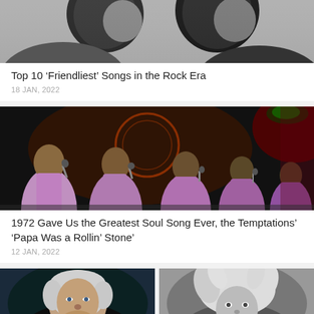[Figure (photo): Black and white photo of two people in close profile, cropped at top]
Top 10 ‘Friendliest’ Songs in the Rock Era
18 JAN, 2022
[Figure (photo): Color photo of the Temptations performing on stage in pink suits with microphones, dark background with red/green lights]
1972 Gave Us the Greatest Soul Song Ever, the Temptations’ ‘Papa Was a Rollin’ Stone’
12 JAN, 2022
[Figure (photo): Side-by-side photos: left is color photo of older man with silver hair facing camera, right is black and white photo of man with wild hair]